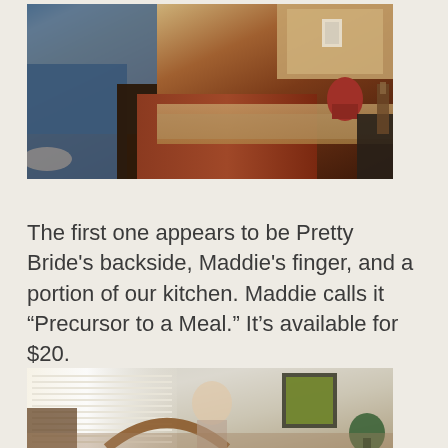[Figure (photo): A blurry close-up photo of what appears to be Pretty Bride's backside, Maddie's finger, and a portion of their kitchen with a counter, appliances, and cabinets visible]
The first one appears to be Pretty Bride's backside, Maddie's finger, and a portion of our kitchen.  Maddie calls it “Precursor to a Meal.”  It’s available for $20.
[Figure (photo): A blurry photo of a dining room with a child sitting at a table, a wooden chair in the foreground, a framed painting on the wall, a plant in the corner, and bright window light on the left]